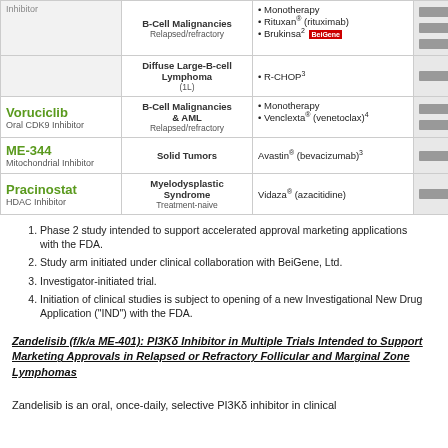| Drug | Indication | Combination | Stage |
| --- | --- | --- | --- |
| Inhibitor | B-Cell Malignancies
Relapsed/refractory | • Monotherapy
• Rituxan® (rituximab)
• Brukinsa² [BeiGene] |  |
|  | Diffuse Large-B-cell Lymphoma (1L) | • R-CHOP³ |  |
| Voruciclib
Oral CDK9 Inhibitor | B-Cell Malignancies & AML
Relapsed/refractory | • Monotherapy
• Venclexta® (venetoclax)⁴ |  |
| ME-344
Mitochondrial Inhibitor | Solid Tumors | Avastin® (bevacizumab)³ |  |
| Pracinostat
HDAC Inhibitor | Myelodysplastic Syndrome
Treatment-naive | Vidaza® (azacitidine) |  |
Phase 2 study intended to support accelerated approval marketing applications with the FDA.
Study arm initiated under clinical collaboration with BeiGene, Ltd.
Investigator-initiated trial.
Initiation of clinical studies is subject to opening of a new Investigational New Drug Application ("IND") with the FDA.
Zandelisib (f/k/a ME-401): PI3Kδ Inhibitor in Multiple Trials Intended to Support Marketing Approvals in Relapsed or Refractory Follicular and Marginal Zone Lymphomas
Zandelisib is an oral, once-daily, selective PI3Kδ inhibitor in clinical